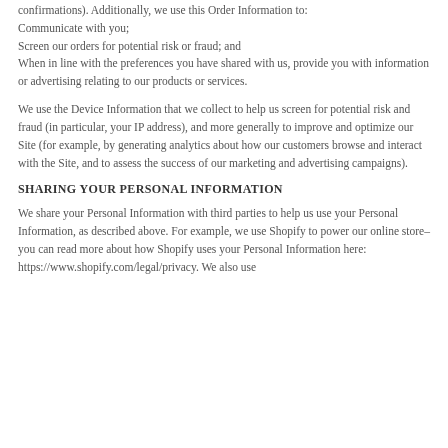confirmations). Additionally, we use this Order Information to:
Communicate with you;
Screen our orders for potential risk or fraud; and
When in line with the preferences you have shared with us, provide you with information or advertising relating to our products or services.
We use the Device Information that we collect to help us screen for potential risk and fraud (in particular, your IP address), and more generally to improve and optimize our Site (for example, by generating analytics about how our customers browse and interact with the Site, and to assess the success of our marketing and advertising campaigns).
SHARING YOUR PERSONAL INFORMATION
We share your Personal Information with third parties to help us use your Personal Information, as described above. For example, we use Shopify to power our online store–you can read more about how Shopify uses your Personal Information here:
https://www.shopify.com/legal/privacy. We also use